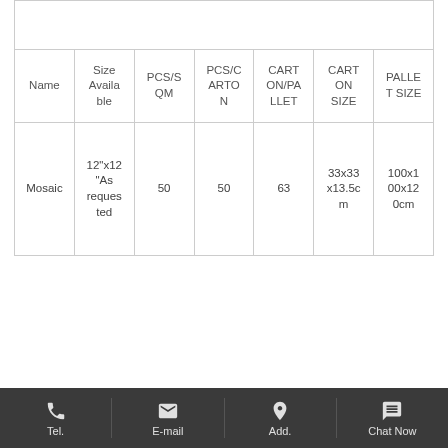| Name | Size Available | PCS/SQM | PCS/CARTON | CARTON/PALLET | CARTON SIZE | PALLET SIZE |
| --- | --- | --- | --- | --- | --- | --- |
| Mosaic | 12"x12" As requested | 50 | 50 | 63 | 33x33x13.5cm | 100x100x120cm |
Tel.   E-mail   Add.   Chat Now